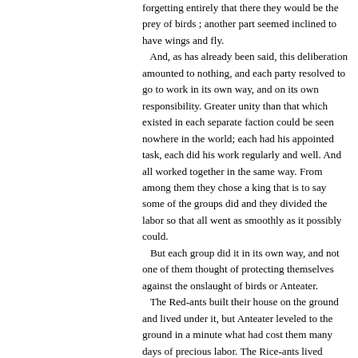forgetting entirely that there they would be the prey of birds ; another part seemed inclined to have wings and fly. And, as has already been said, this deliberation amounted to nothing, and each party resolved to go to work in its own way, and on its own responsibility. Greater unity than that which existed in each separate faction could be seen nowhere in the world; each had his appointed task, each did his work regularly and well. And all worked together in the same way. From among them they chose a king that is to say some of the groups did and they divided the labor so that all went as smoothly as it possibly could. But each group did it in its own way, and not one of them thought of protecting themselves against the onslaught of birds or Anteater. The Red-ants built their house on the ground and lived under it, but Anteater leveled to the ground in a minute what had cost them many days of precious labor. The Rice-ants lived under the ground, and with them it went no better. For whenever they came out, Anteater visited them and took them out sack and pack. The Wagtail-ants fled to the trees, but there on many occasions sat Centipede waiting for them, or the birds gobbled them up. The Gray-ants had intended to save themselves from extermination by taking to flight, but this also availed them